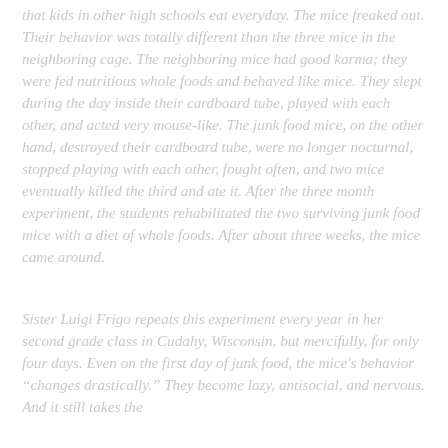that kids in other high schools eat everyday. The mice freaked out. Their behavior was totally different than the three mice in the neighboring cage. The neighboring mice had good karma; they were fed nutritious whole foods and behaved like mice. They slept during the day inside their cardboard tube, played with each other, and acted very mouse-like. The junk food mice, on the other hand, destroyed their cardboard tube, were no longer nocturnal, stopped playing with each other, fought often, and two mice eventually killed the third and ate it. After the three month experiment, the students rehabilitated the two surviving junk food mice with a diet of whole foods. After about three weeks, the mice came around.
Sister Luigi Frigo repeats this experiment every year in her second grade class in Cudahy, Wisconsin, but mercifully, for only four days. Even on the first day of junk food, the mice's behavior "changes drastically." They become lazy, antisocial, and nervous. And it still takes the